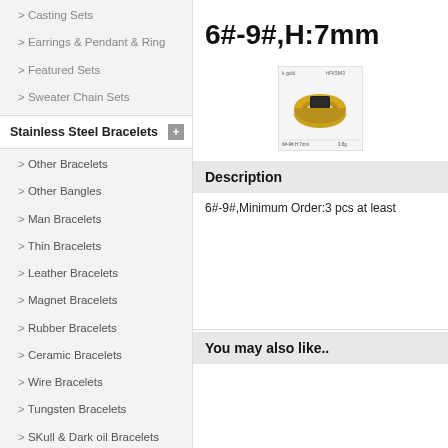Casting Sets
Earrings & Pendant & Ring
Featured Sets
Sweater Chain Sets
Stainless Steel Bracelets
Other Bracelets
Other Bangles
Man Bracelets
Thin Bracelets
Leather Bracelets
Magnet Bracelets
Rubber Bracelets
Ceramic Bracelets
Wire Bracelets
Tungsten Bracelets
SKull & Dark oil Bracelets
Semi-precious Stones Jewel...
Watch Band Bracelets
Featured Bracelets
Featured Bangles
Stainless Steel Earrings
Cutting Earrings
6#-9#,H:7mm
[Figure (photo): Gold ring product thumbnail with text 6#-9#,H:7mm 3.8g]
Description
6#-9#,Minimum Order:3 pcs at least
You may also like..